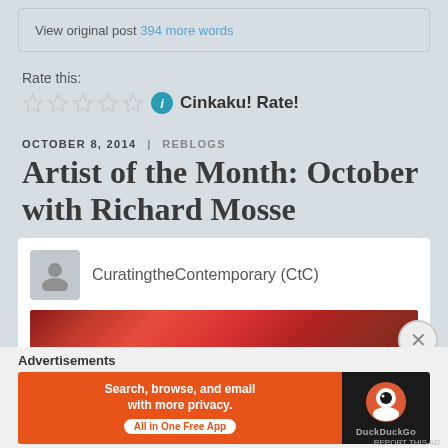View original post 394 more words
Rate this:
Cinkaku! Rate!
OCTOBER 8, 2014 | REBLOGS
Artist of the Month: October with Richard Mosse
CuratingtheContemporary (CtC)
[Figure (photo): Red/pink textured photo, likely part of the Artist of the Month post]
Advertisements
[Figure (infographic): DuckDuckGo advertisement banner: Search, browse, and email with more privacy. All in One Free App]